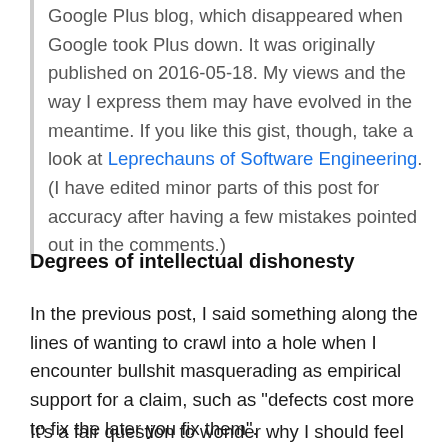Google Plus blog, which disappeared when Google took Plus down. It was originally published on 2016-05-18. My views and the way I express them may have evolved in the meantime. If you like this gist, though, take a look at Leprechauns of Software Engineering. (I have edited minor parts of this post for accuracy after having a few mistakes pointed out in the comments.)
Degrees of intellectual dishonesty
In the previous post, I said something along the lines of wanting to crawl into a hole when I encounter bullshit masquerading as empirical support for a claim, such as "defects cost more to fix the later you fix them".
It's a fair question to wonder why I should feel shame for my profession. It's a fair question who